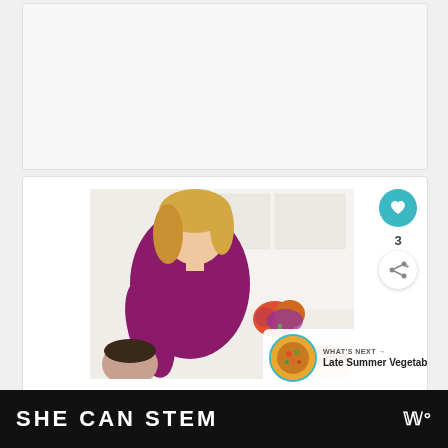[Figure (other): Advertisement placeholder box, light gray background]
[Figure (photo): A woman with blonde hair wearing a purple/magenta top, leaning over in a kitchen with children, bright white kitchen background with flowers]
[Figure (infographic): What's Next promo banner showing a food thumbnail and text 'Late Summer Vegetable...' with arrow]
[Figure (infographic): Bottom dark banner with text 'SHE CAN STEM' and logo 'W°']